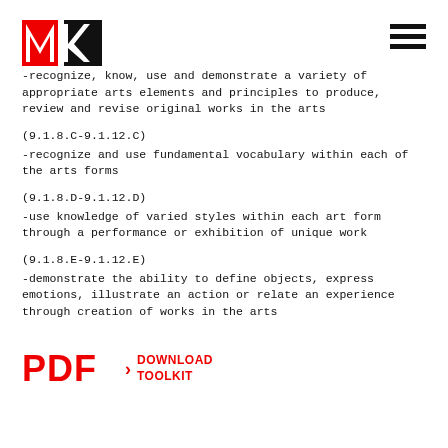ME logo and hamburger menu
-recognize, know, use and demonstrate a variety of appropriate arts elements and principles to produce, review and revise original works in the arts
(9.1.8.C-9.1.12.C)
-recognize and use fundamental vocabulary within each of the arts forms
(9.1.8.D-9.1.12.D)
-use knowledge of varied styles within each art form through a performance or exhibition of unique work
(9.1.8.E-9.1.12.E)
-demonstrate the ability to define objects, express emotions, illustrate an action or relate an experience through creation of works in the arts
PDF  > DOWNLOAD TOOLKIT